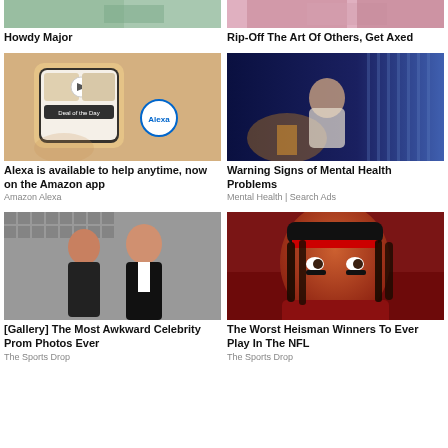[Figure (photo): Partial top image - Howdy Major]
Howdy Major
[Figure (photo): Partial top image - Rip-Off The Art Of Others, Get Axed]
Rip-Off The Art Of Others, Get Axed
[Figure (photo): Phone showing Amazon app with Alexa]
Alexa is available to help anytime, now on the Amazon app
Amazon Alexa
[Figure (photo): Person in bed at night, blue lighting]
Warning Signs of Mental Health Problems
Mental Health | Search Ads
[Figure (photo): Two people in formal wear, prom photo]
[Gallery] The Most Awkward Celebrity Prom Photos Ever
The Sports Drop
[Figure (photo): Football player in red jersey looking intense]
The Worst Heisman Winners To Ever Play In The NFL
The Sports Drop